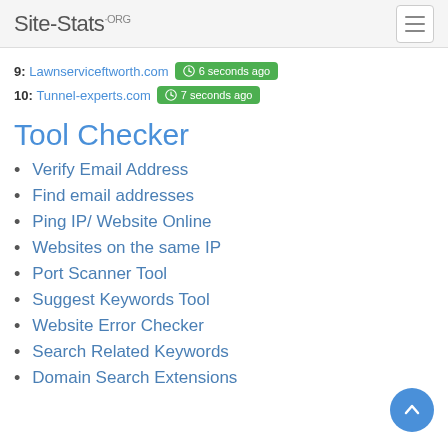Site-Stats.ORG
9: Lawnserviceftworth.com 6 seconds ago
10: Tunnel-experts.com 7 seconds ago
Tool Checker
Verify Email Address
Find email addresses
Ping IP/ Website Online
Websites on the same IP
Port Scanner Tool
Suggest Keywords Tool
Website Error Checker
Search Related Keywords
Domain Search Extensions